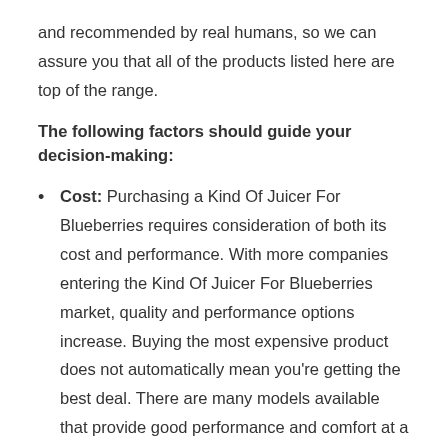and recommended by real humans, so we can assure you that all of the products listed here are top of the range.
The following factors should guide your decision-making:
Cost: Purchasing a Kind Of Juicer For Blueberries requires consideration of both its cost and performance. With more companies entering the Kind Of Juicer For Blueberries market, quality and performance options increase. Buying the most expensive product does not automatically mean you're getting the best deal. There are many models available that provide good performance and comfort at a lower price point.
A brand's value: Consider a brand that offers high-quality products and excellent customer service and the best value for the Kind Of Juicer For Blueberries. Brand products are made carefully and precisely, and if there is any damage to the products, the company will always help you find a